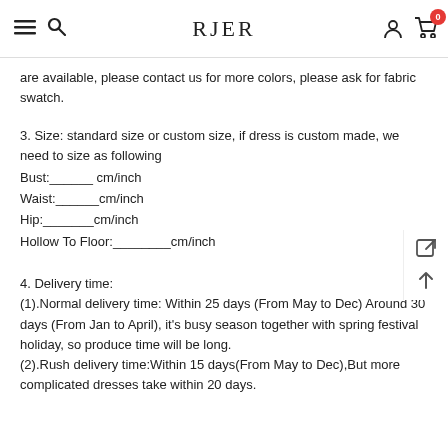RJER
are available, please contact us for more colors, please ask for fabric swatch.
3. Size: standard size or custom size, if dress is custom made, we need to size as following
Bust:______ cm/inch
Waist:______cm/inch
Hip:_______cm/inch
Hollow To Floor:________cm/inch
4. Delivery time:
(1).Normal delivery time: Within 25 days (From May to Dec) Around 30 days (From Jan to April), it's busy season together with spring festival holiday, so produce time will be long.
(2).Rush delivery time:Within 15 days(From May to Dec),But more complicated dresses take within 20 days.